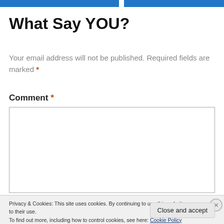What Say YOU?
Your email address will not be published. Required fields are marked *
Comment *
Privacy & Cookies: This site uses cookies. By continuing to use this website, you agree to their use.
To find out more, including how to control cookies, see here: Cookie Policy
Close and accept